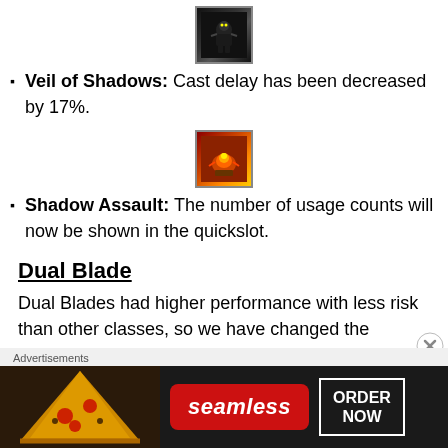[Figure (illustration): Small pixel-art game icon showing a dark ninja/shadow character on dark background with border]
Veil of Shadows: Cast delay has been decreased by 17%.
[Figure (illustration): Small pixel-art game icon showing a fire/explosion attack skill on dark background with border]
Shadow Assault: The number of usage counts will now be shown in the quickslot.
Dual Blade
Dual Blades had higher performance with less risk than other classes, so we have changed the conditions of Chains of Hell to try and increase the risk when applying the same invincibility time as before.
[Figure (screenshot): Advertisement banner: Seamless food delivery - ORDER NOW, with pizza image]
Advertisements